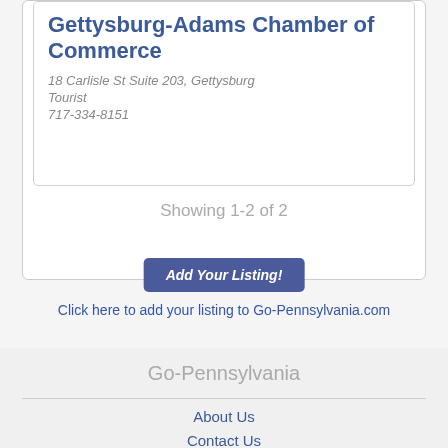Gettysburg-Adams Chamber of Commerce
18 Carlisle St Suite 203, Gettysburg
Tourist
717-334-8151
Showing  1-2 of 2
Add Your Listing!
Click here to add your listing to Go-Pennsylvania.com
Go-Pennsylvania
About Us
Contact Us